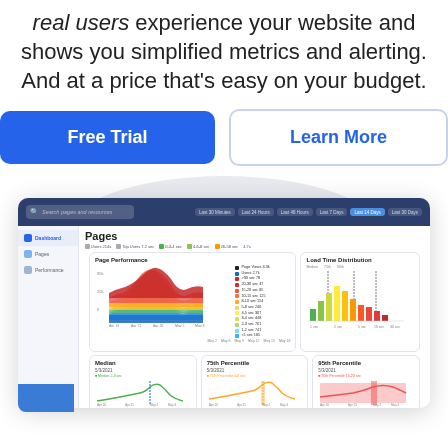real users experience your website and shows you simplified metrics and alerting. And at a price that's easy on your budget.
[Figure (other): Two CTA buttons: 'Free Trial' (blue filled) and 'Learn More' (white with blue border)]
[Figure (screenshot): Screenshot of a web analytics dashboard showing Pages section with Page Performance area chart, Load Time Distribution histogram, and Median/Percentile panels with URL performance data table]